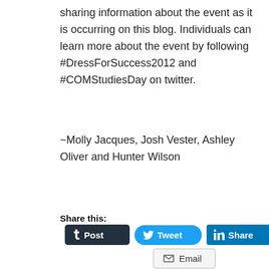sharing information about the event as it is occurring on this blog. Individuals can learn more about the event by following #DressForSuccess2012 and #COMStudiesDay on twitter.
~Molly Jacques, Josh Vester, Ashley Oliver and Hunter Wilson
Share this:
[Figure (screenshot): Social share buttons: Tumblr Post (dark button), Twitter Tweet (blue rounded button), LinkedIn Share (blue button), Email (light gray outlined button)]
Loading…